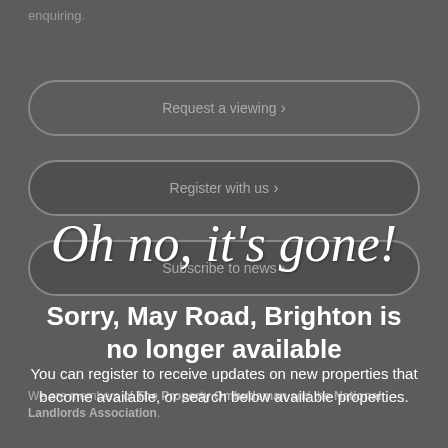enquiring.
Request a viewing >
Register with us >
Oh no, it's gone!
Subscribe to news >
Sorry, May Road, Brighton is no longer available
We are members of The Property Ombudsman and the National Landlords Association.
You can register to receive updates on new properties that become available, or search below available properties.